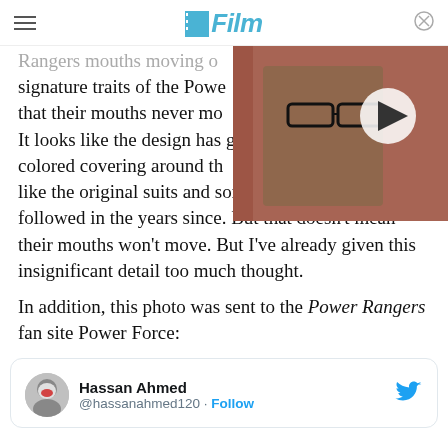/Film
Rangers mouths moving on signature traits of the Power Rangers that their mouths never mo... It looks like the design has g... colored covering around th... like the original suits and some of the others that followed in the years since. But that doesn't mean their mouths won't move. But I've already given this insignificant detail too much thought.
[Figure (photo): Video thumbnail showing a man with dark hair and glasses looking surprised, with a play button overlay]
In addition, this photo was sent to the Power Rangers fan site Power Force:
[Figure (screenshot): Embedded tweet from Hassan Ahmed (@hassanahmed120) with a Follow button and Twitter bird icon]